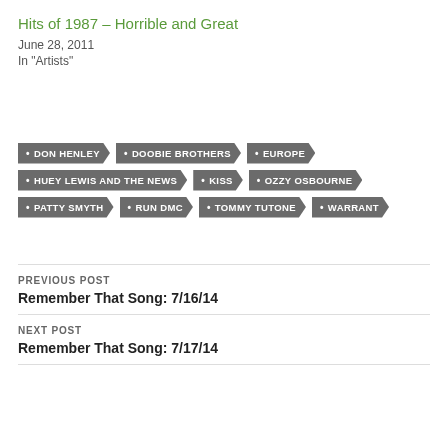Hits of 1987 – Horrible and Great
June 28, 2011
In "Artists"
DON HENLEY · DOOBIE BROTHERS · EUROPE · HUEY LEWIS AND THE NEWS · KISS · OZZY OSBOURNE · PATTY SMYTH · RUN DMC · TOMMY TUTONE · WARRANT
PREVIOUS POST
Remember That Song: 7/16/14
NEXT POST
Remember That Song: 7/17/14